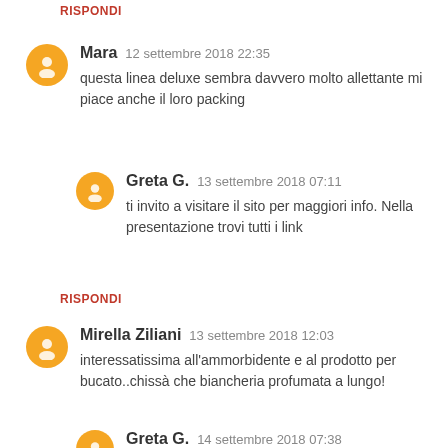RISPONDI
Mara  12 settembre 2018 22:35
questa linea deluxe sembra davvero molto allettante mi piace anche il loro packing
Greta G.  13 settembre 2018 07:11
ti invito a visitare il sito per maggiori info. Nella presentazione trovi tutti i link
RISPONDI
Mirella Ziliani  13 settembre 2018 12:03
interessatissima all'ammorbidente e al prodotto per bucato..chissà che biancheria profumata a lungo!
Greta G.  14 settembre 2018 07:38